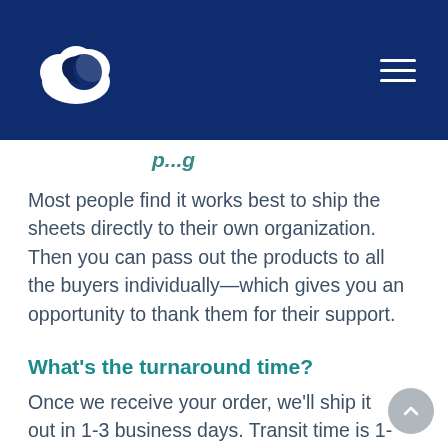Most people find it works best to ship the sheets directly to their own organization. Then you can pass out the products to all the buyers individually—which gives you an opportunity to thank them for their support.
What's the turnaround time?
Once we receive your order, we'll ship it out in 1-3 business days. Transit time is 1-6 days, depending on your location.